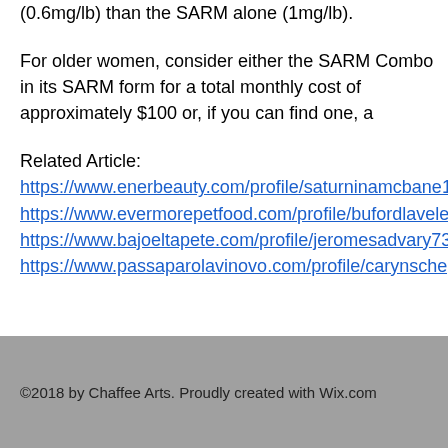(0.6mg/lb) than the SARM alone (1mg/lb).
For older women, consider either the SARM Combo in its SARM form for a total monthly cost of approximately $100 or, if you can find one, a
Related Article:
https://www.enerbeauty.com/profile/saturninamcbane115574/profile
https://www.evermorepetfood.com/profile/bufordlavelett103851/profile
https://www.bajoeltapete.com/profile/jeromesadvary73601/profile
https://www.passaparolavinovo.com/profile/carynschepp129490/profile
©2018 by Chaffee Arts. Proudly created with Wix.com